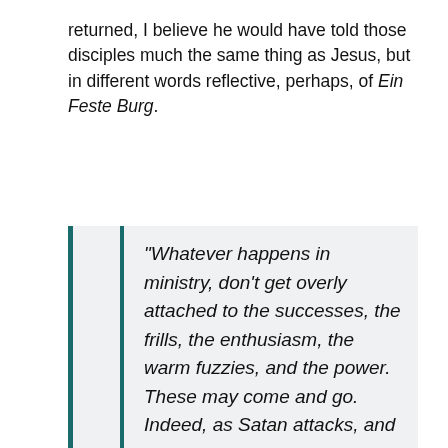returned, I believe he would have told those disciples much the same thing as Jesus, but in different words reflective, perhaps, of Ein Feste Burg.
“Whatever happens in ministry, don’t get overly attached to the successes, the frills, the enthusiasm, the warm fuzzies, and the power. These may come and go. Indeed, as Satan attacks, and